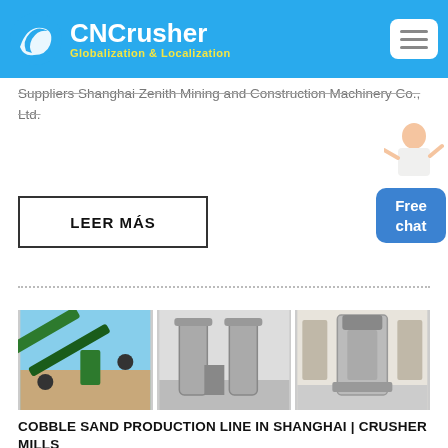CNCrusher Globalization & Localization
Suppliers Shanghai Zenith Mining and Construction Machinery Co., Ltd.
LEER MÁS
[Figure (photo): Three industrial machinery photos side by side: green conveyor/crusher, industrial mill cylinders, and heavy industrial press equipment]
COBBLE SAND PRODUCTION LINE IN SHANGHAI | CRUSHER MILLS